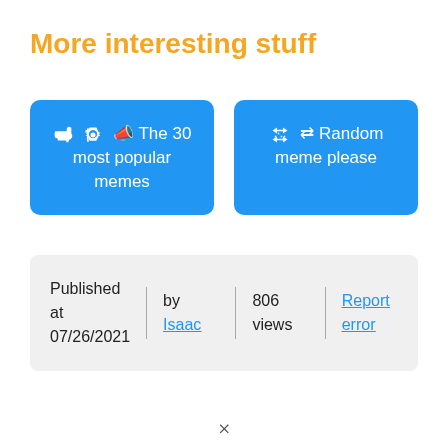More interesting stuff
📢 The 30 most popular memes
⇄ Random meme please
Published at 07/26/2021  |  by Isaac  |  806 views  |  Report error